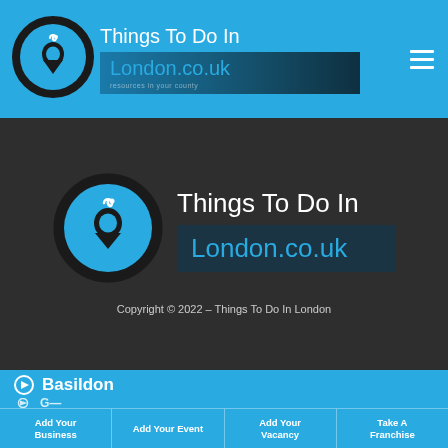Things To Do In London.co.uk
[Figure (logo): Things To Do In London circular logo with location pin icon, white on blue/dark circle, in header]
[Figure (logo): Things To Do In London circular logo with location pin icon, white on blue/dark circle, larger version in dark section]
Things To Do In
London.co.uk
Copyright © 2022 – Things To Do In London
Basildon
Add Your Business | Add Your Event | Add Your Vacancy | Take A Franchise